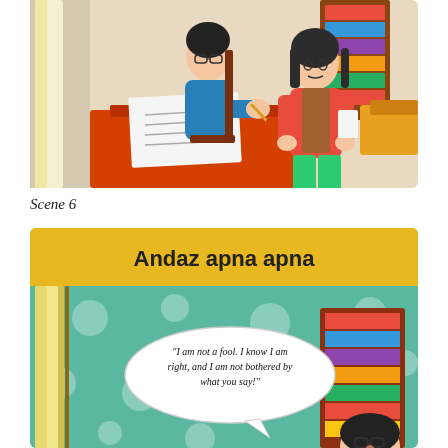[Figure (illustration): Comic illustration showing a student with glasses sitting at an orange desk writing on paper, and a woman in a red jacket standing nearby looking concerned, with a bookshelf and curtains in the background.]
Scene 6
[Figure (illustration): Comic panel with yellow header reading 'Andaz apna apna', showing a teal dotted-pattern room with a bookshelf, curtains, and a speech bubble saying '"I am not a fool. I know I am right, and I am not bothered by what you say!"' with a girl with glasses visible at the bottom right.]